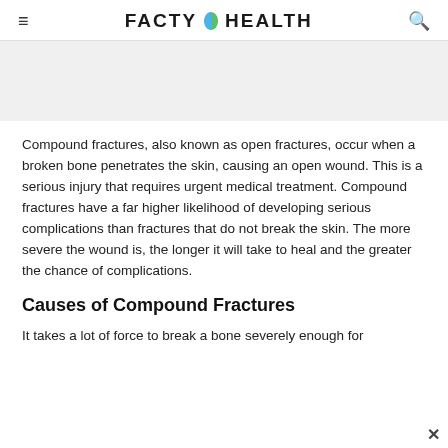FACTY HEALTH
[Figure (other): Gray placeholder image area]
Compound fractures, also known as open fractures, occur when a broken bone penetrates the skin, causing an open wound. This is a serious injury that requires urgent medical treatment. Compound fractures have a far higher likelihood of developing serious complications than fractures that do not break the skin. The more severe the wound is, the longer it will take to heal and the greater the chance of complications.
Causes of Compound Fractures
It takes a lot of force to break a bone severely enough for